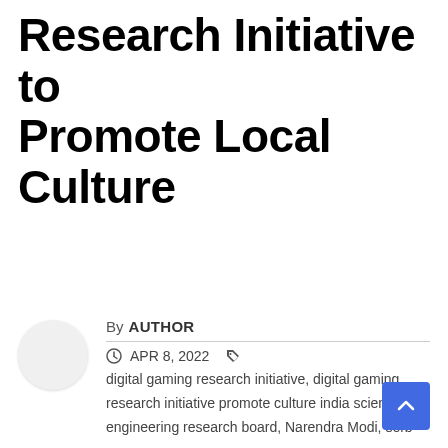Research Initiative to Promote Local Culture
By AUTHOR
APR 8, 2022  digital gaming research initiative, digital gaming research initiative promote culture india science and engineering research board, Narendra Modi, serb